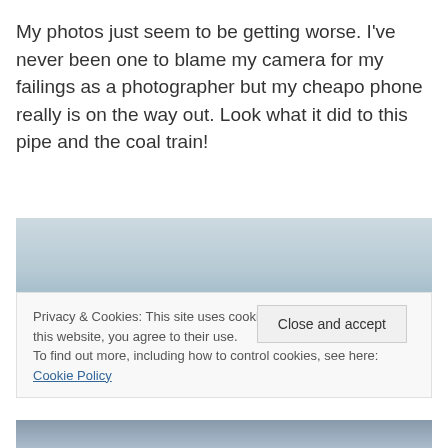My photos just seem to be getting worse. I've never been one to blame my camera for my failings as a photographer but my cheapo phone really is on the way out. Look what it did to this pipe and the coal train!
[Figure (photo): Overexposed/washed-out sky photograph — light blue-grey tones, poor quality phone camera image]
Privacy & Cookies: This site uses cookies. By continuing to use this website, you agree to their use.
To find out more, including how to control cookies, see here: Cookie Policy
[Figure (photo): Partial photo at bottom showing what appears to be a pipe and coal train scene]